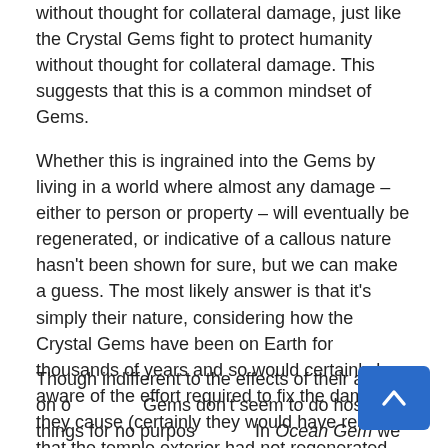without thought for collateral damage, just like the Crystal Gems fight to protect humanity without thought for collateral damage. This suggests that this is a common mindset of Gems.
Whether this is ingrained into the Gems by living in a world where almost any damage – either to person or property – will eventually be regenerated, or indicative of a callous nature hasn't been shown for sure, but we can make a guess. The most likely answer is that it's simply their nature, considering how the Crystal Gems have been on Earth for thousands of years and so would certainly be aware of the effort required to fix the damage they cause (certainly they would have realized that the temple exterior had not regenerated yet).
Though indifferent to the effects of their actions on others, Gems don't seem to do hostile things for no purpose. In Ocean Gem we clearly see that Lapis's Amethyst clone